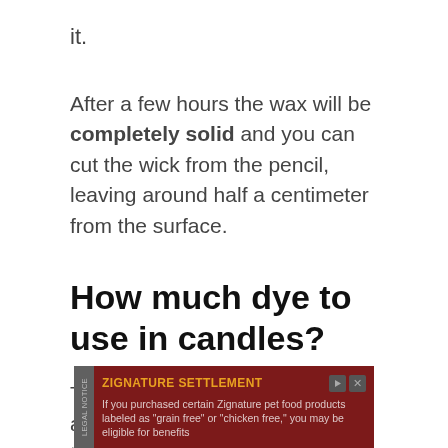it.
After a few hours the wax will be completely solid and you can cut the wick from the pencil, leaving around half a centimeter from the surface.
How much dye to use in candles?
The amount of dye you need to add to your wax depends on the type of dye you are using and what shade of color you want to achieve.
[Figure (other): Advertisement banner for Zignature Settlement legal notice. Dark red/maroon background. Text: ZIGNATURE SETTLEMENT - If you purchased certain Zignature pet food products labeled as "grain free" or "chicken free," you may be eligible for benefits]